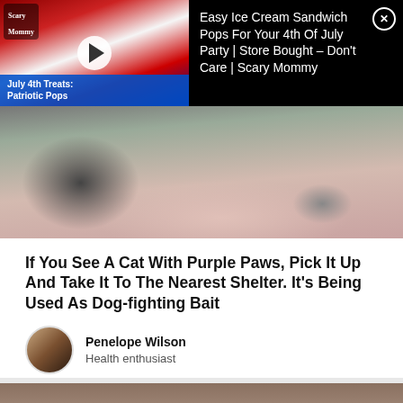[Figure (screenshot): Ad banner with video thumbnail showing patriotic ice cream pops with US flag background and play button. Overlay label reads 'July 4th Treats: Patriotic Pops'. Ad title: 'Easy Ice Cream Sandwich Pops For Your 4th Of July Party | Store Bought – Don't Care | Scary Mommy'. Close button (X) in top right corner.]
[Figure (photo): Close-up photo of a cat with purple-painted paws lying on a pink and white striped towel on a surface.]
If You See A Cat With Purple Paws, Pick It Up And Take It To The Nearest Shelter. It's Being Used As Dog-fighting Bait
Penelope Wilson
Health enthusiast